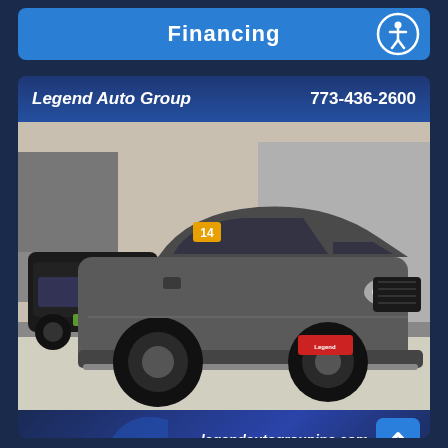Financing
[Figure (logo): Accessibility icon button (person in circle)]
[Figure (photo): Legend Auto Group dealer advertisement showing a gray 2014 Dodge Durango SUV parked on a sidewalk with a black Jeep Grand Cherokee visible in background. Dealer name 'Legend Auto Group', phone '773-436-2600', and website 'legendautogroupinc.com' displayed on a dark blue banner.]